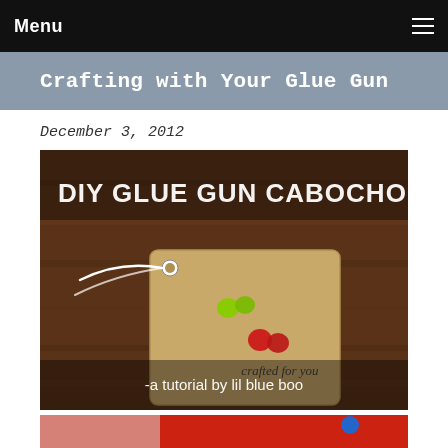Menu
Crafting with Your Glue Gun
December 3, 2012
[Figure (photo): DIY Glue Gun Cabochons tutorial image by lil blue boo — shows a kraft paper gift tag with two pairs of small heart-shaped cabochons (lime green and red) on a wooden background. Text overlay reads 'DIY GLUE GLUE GUN CABOCHONS' and 'a tutorial by lil blue boo' and 'crafted for you'.]
[Figure (photo): Partial photo showing a red object and blue element, cropped at page bottom.]